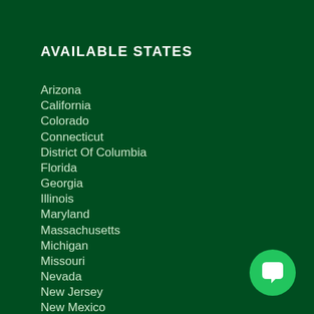AVAILABLE STATES
Arizona
California
Colorado
Connecticut
District Of Columbia
Florida
Georgia
Illinois
Maryland
Massachusetts
Michigan
Missouri
Nevada
New Jersey
New Mexico
North Carolina
New York
[Figure (logo): Green circle chat/messaging icon button in bottom right corner]